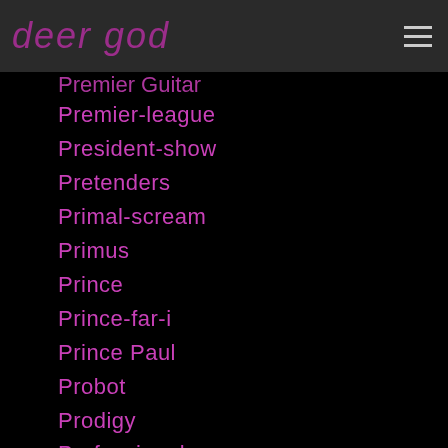deer god
Premier Guitar
Premier-league
President-show
Pretenders
Primal-scream
Primus
Prince
Prince-far-i
Prince Paul
Probot
Prodigy
Professionals
Progressive Metal
Progressive-metal
Progressive Rock
Propagandhi
Proper Villains